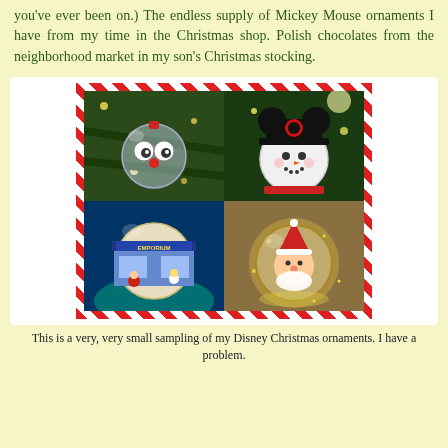you've ever been on.) The endless supply of Mickey Mouse ornaments I have from my time in the Christmas shop. Polish chocolates from the neighborhood market in my son's Christmas stocking.
[Figure (photo): A 2x2 grid of four Disney Christmas ornament photos enclosed in a red-and-white candy cane striped border. Top-left: a clear glass ball ornament with Mickey Mouse face made of googly eyes and a red nose hanging on a Christmas tree. Top-right: a snowman ornament wearing a Mickey Mouse hat on a Christmas tree. Bottom-left: a round ornament depicting Mickey's Emporium/Main Street scene with Disney characters. Bottom-right: a glittery globe ornament containing Santa Claus figurine.]
This is a very, very small sampling of my Disney Christmas ornaments. I have a problem.